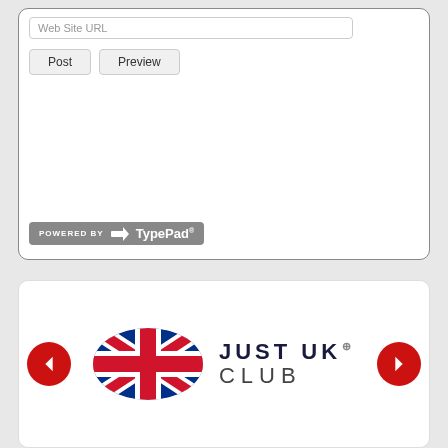[Figure (screenshot): Web form with URL input field, Post and Preview buttons, and a Powered by TypePad badge at the bottom left of the white rounded box]
[Figure (logo): Just UK Club logo with Union Jack flag graphic on the left and stylized text JUST UK CLUB on the right, with left and right navigation arrows on either side]